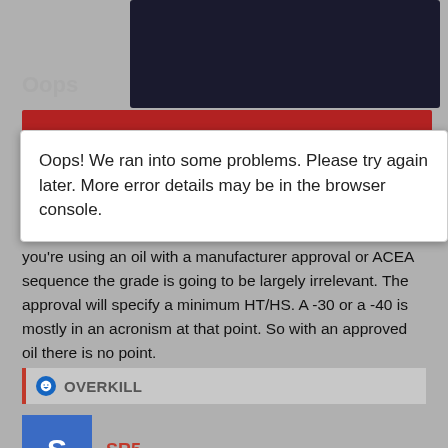Oops
Oops! We ran into some problems. Please try again later. More error details may be in the browser console.
in your example above. An oil with a 5W winter rating is usable down to about -30 and a 0W for starting temperatures below that.
The other thing is that as noted in the post above yours, if you’re using an oil with a manufacturer approval or ACEA sequence the grade is going to be largely irrelevant. The approval will specify a minimum HT/HS. A -30 or a -40 is mostly in an acronism at that point. So with an approved oil there is no point.
OVERKILL
SR5